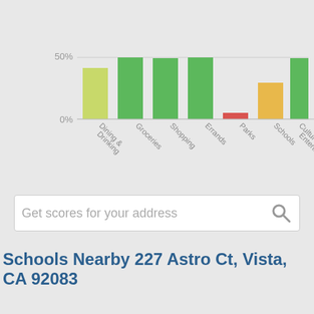[Figure (bar-chart): Neighborhood scores bar chart]
Get scores for your address
Schools Nearby 227 Astro Ct, Vista, CA 92083